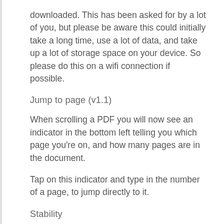downloaded. This has been asked for by a lot of you, but please be aware this could initially take a long time, use a lot of data, and take up a lot of storage space on your device. So please do this on a wifi connection if possible.
Jump to page (v1.1)
When scrolling a PDF you will now see an indicator in the bottom left telling you which page you’re on, and how many pages are in the document.
Tap on this indicator and type in the number of a page, to jump directly to it.
Stability
We’ve been keeping a careful eye on crashes, and